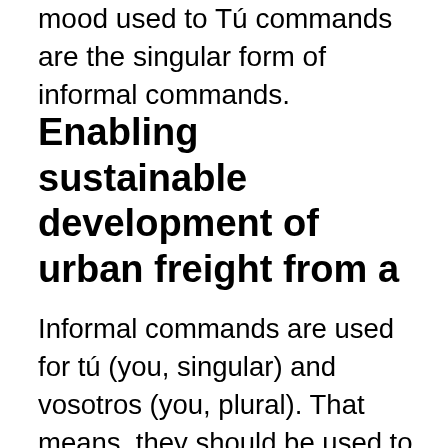mood used to Tú commands are the singular form of informal commands.
Enabling sustainable development of urban freight from a
Informal commands are used for tú (you, singular) and vosotros (you, plural). That means, they should be used to address people who you are familiar with. As there are regular and irregular verbs, the way to form the imperative depends on whether the verb is regular or irregular. Regular verbs. To be able to construct commands with regular verbs, all you need to know is how the present indicative tense functions. Negative informal commands, also called negative tú commands, are used to tell a